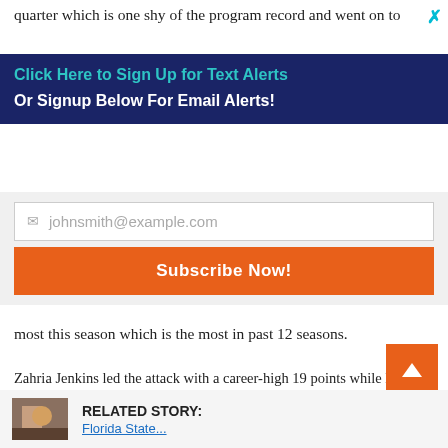quarter which is one shy of the program record and went on to
[Figure (other): Close X button in teal color]
Click Here to Sign Up for Text Alerts
Or Signup Below For Email Alerts!
[Figure (other): Email signup form with input field showing johnsmith@example.com placeholder and orange Subscribe Now! button]
most this season which is the most in past 12 seasons.
Zahria Jenkins led the attack with a career-high 19 points while Milan Schimmel finished with her fourth double-double scoring 18 points and grabbing 13 rebounds. Levay finished with 15 points and Stephanie Torres had 14.
The Titans will return to Suncoast Conference action Wednesday night, traveling to St. Petersburg for a 5:30 p.m. game.
RELATED STORY:
Florida State...